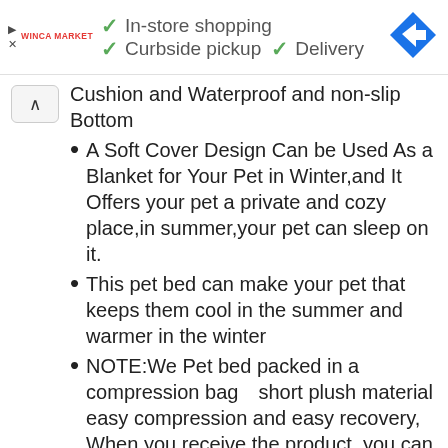Winca Market | In-store shopping | Curbside pickup | Delivery
Cushion and Waterproof and non-slip Bottom
A Soft Cover Design Can be Used As a Blanket for Your Pet in Winter,and It Offers your pet a private and cozy place,in summer,your pet can sleep on it.
This pet bed can make your pet that keeps them cool in the summer and warmer in the winter
NOTE:We Pet bed packed in a compression bag【short plush material easy compression and easy recovery, When you receive the product, you can